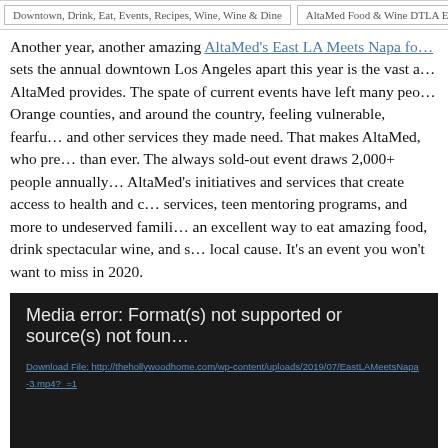Downtown, Drink, Eat, Events, Recipes, Wine, Wine & Dine | AltaMed Food & Wine DTLA East LA Me...
Another year, another amazing AltaMed's East LA Meets Napa fo... sets the annual downtown Los Angeles apart this year is the vast a... AltaMed provides. The spate of current events have left many peo... Orange counties, and around the country, feeling vulnerable, fearfu... and other services they made need. That makes AltaMed, who pre... than ever. The always sold-out event draws 2,000+ people annually... AltaMed's initiatives and services that create access to health and ... services, teen mentoring programs, and more to undeserved famili... an excellent way to eat amazing food, drink spectacular wine, and... local cause. It's an event you won't want to miss in 2020.
[Figure (other): Media error box with dark background showing: 'Media error: Format(s) not supported or source(s) not found' and a download link to http://thehollywoodhome.com/wp-content/uploads/2019/07/EastLAMeetsNapa-3.mp4?_=1]